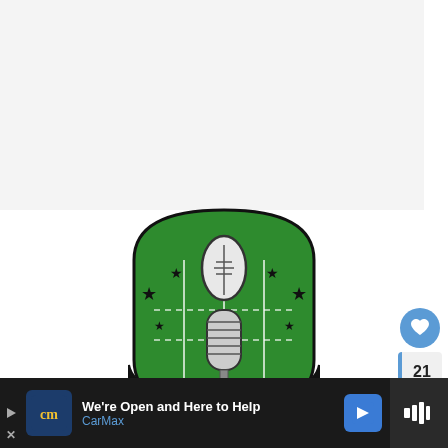[Figure (illustration): Top light-gray blank area taking up approximately the top half of the page]
[Figure (logo): The Fantasy Football podcast logo: a vintage microphone combined with a football on top, set against a green football field shield shape, with stars surrounding, and 'THE FANTASY' text banner at the bottom]
21
[Figure (infographic): Ad bar at the bottom: CarMax advertisement with text 'We're Open and Here to Help' and 'CarMax' brand name, with navigation arrow icon, and a sound/audio icon on the far right]